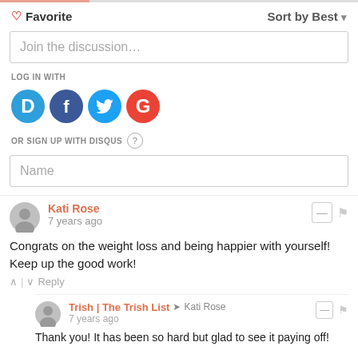♡ Favorite
Sort by Best ▾
Join the discussion…
LOG IN WITH
[Figure (illustration): Four social login icons: Disqus (blue D), Facebook (dark blue f), Twitter (light blue bird), Google (red G)]
OR SIGN UP WITH DISQUS ?
Name
Kati Rose
7 years ago
Congrats on the weight loss and being happier with yourself! Keep up the good work!
Trish | The Trish List → Kati Rose
7 years ago
Thank you! It has been so hard but glad to see it paying off!